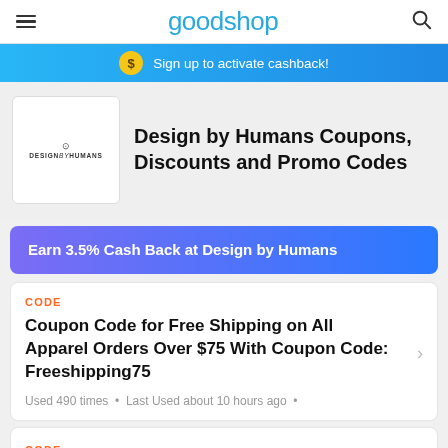goodshop
Sign up to activate cashback!
Design by Humans Coupons, Discounts and Promo Codes
Earn 3.5% Cash Back at Design by Humans
CODE
Coupon Code for Free Shipping on All Apparel Orders Over $75 With Coupon Code: Freeshipping75
Used 490 times • Last Used about 10 hours ago •
CODE